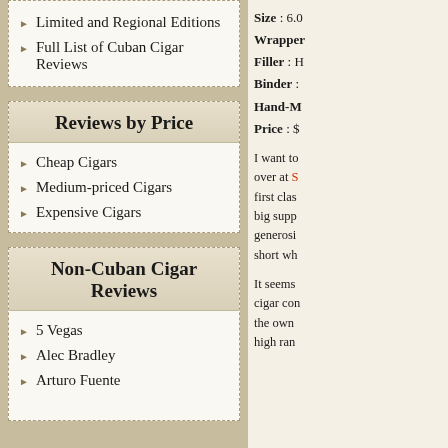Limited and Regional Editions
Full List of Cuban Cigar Reviews
Reviews by Price
Cheap Cigars
Medium-priced Cigars
Expensive Cigars
Non-Cuban Cigar Reviews
5 Vegas
Alec Bradley
Arturo Fuente
Size : 6.0
Wrapper
Filler : H
Binder :
Hand-M
Price : $
I want to over at S first clas big supp generosi short wh
It seems cigar con the own high ran